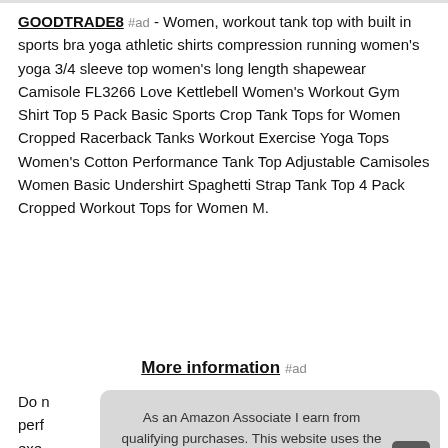GOODTRADE8 #ad - Women, workout tank top with built in sports bra yoga athletic shirts compression running women's yoga 3/4 sleeve top women's long length shapewear Camisole FL3266 Love Kettlebell Women's Workout Gym Shirt Top 5 Pack Basic Sports Crop Tank Tops for Women Cropped Racerback Tanks Workout Exercise Yoga Tops Women's Cotton Performance Tank Top Adjustable Camisoles Women Basic Undershirt Spaghetti Strap Tank Top 4 Pack Cropped Workout Tops for Women M.
More information #ad
Do not perf exer
As an Amazon Associate I earn from qualifying purchases. This website uses the only necessary cookies to ensure you get the best experience on our website. More information